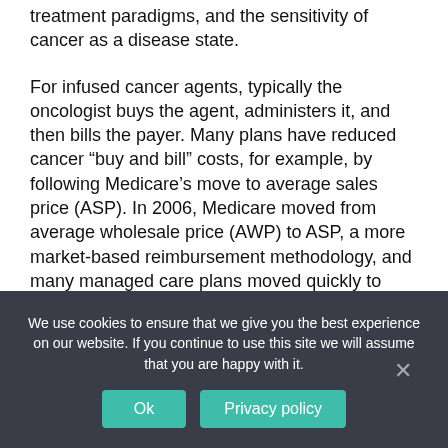treatment paradigms, and the sensitivity of cancer as a disease state.
For infused cancer agents, typically the oncologist buys the agent, administers it, and then bills the payer. Many plans have reduced cancer “buy and bill” costs, for example, by following Medicare’s move to average sales price (ASP). In 2006, Medicare moved from average wholesale price (AWP) to ASP, a more market-based reimbursement methodology, and many managed care plans moved quickly to ASP as well. This is an
We use cookies to ensure that we give you the best experience on our website. If you continue to use this site we will assume that you are happy with it.